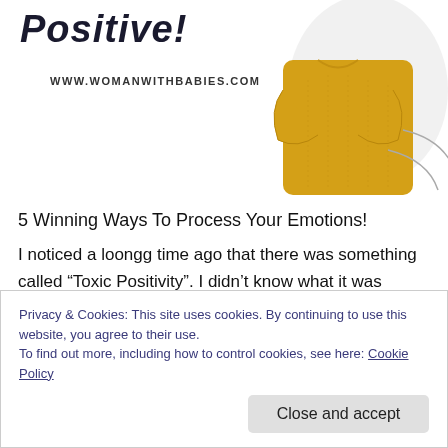Positive!
WWW.WOMANWITHBABIES.COM
[Figure (photo): A woman wearing a yellow sweater with arms crossed, shown from neck down, against a white/light grey background with decorative curved lines.]
5 Winning Ways To Process Your Emotions!
I noticed a loongg time ago that there was something called “Toxic Positivity”. I didn’t know what it was called back then, all I knew was that it didn’t feel good. It didn’t
Privacy & Cookies: This site uses cookies. By continuing to use this website, you agree to their use. To find out more, including how to control cookies, see here: Cookie Policy
Close and accept